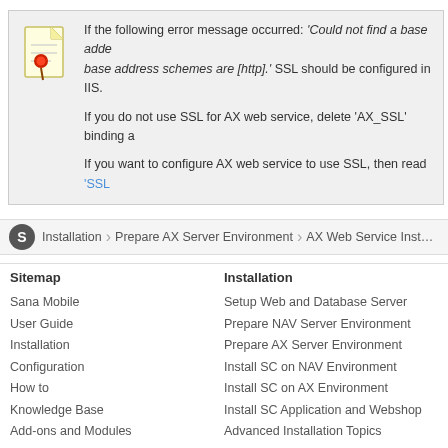If the following error message occurred: 'Could not find a base address that matches scheme http for the endpoint with binding WebHttpBinding. Registered base address schemes are [http].' SSL should be configured in IIS. If you do not use SSL for AX web service, delete 'AX_SSL' binding a… If you want to configure AX web service to use SSL, then read 'SSL…
Installation > Prepare AX Server Environment > AX Web Service Inst…
Sitemap
Sana Mobile
User Guide
Installation
Configuration
How to
Knowledge Base
Add-ons and Modules
Installation
Setup Web and Database Server
Prepare NAV Server Environment
Prepare AX Server Environment
Install SC on NAV Environment
Install SC on AX Environment
Install SC Application and Webshop
Advanced Installation Topics
Sana Software – e-Commerce for Microsoft Dynamics
© 1998 - 2013 Sana Software. All rights reserved | Updated: January 2013